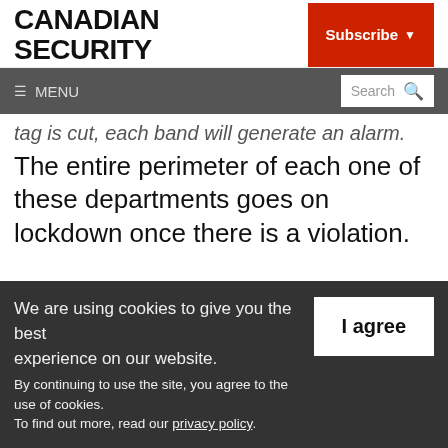CANADIAN SECURITY
Subscribe
≡ MENU  Search
tag is cut, each band will generate an alarm. The entire perimeter of each one of these departments goes on lockdown once there is a violation.
We are using cookies to give you the best experience on our website. By continuing to use the site, you agree to the use of cookies. To find out more, read our privacy policy.
I agree